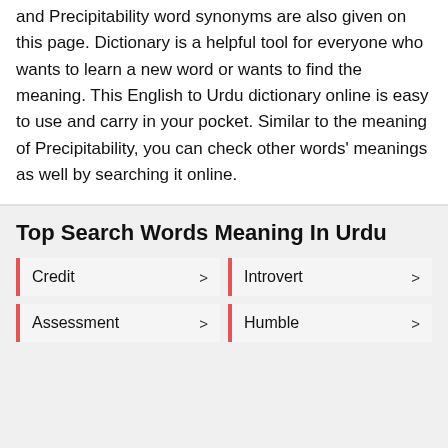and Precipitability word synonyms are also given on this page. Dictionary is a helpful tool for everyone who wants to learn a new word or wants to find the meaning. This English to Urdu dictionary online is easy to use and carry in your pocket. Similar to the meaning of Precipitability, you can check other words' meanings as well by searching it online.
Top Search Words Meaning In Urdu
Credit >
Introvert >
Assessment >
Humble >